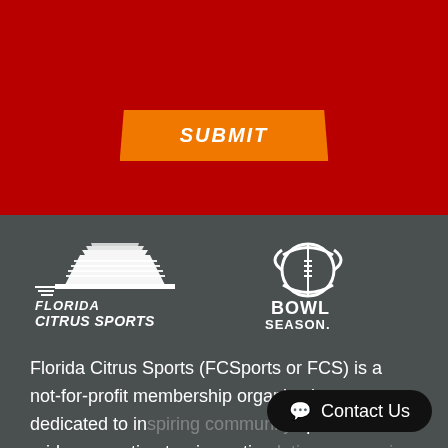[Figure (other): Orange SUBMIT button on dark red background]
[Figure (logo): Florida Citrus Sports logo with stadium graphic and Bowl Season football logo, white on dark gray background]
Florida Citrus Sports (FCSports or FCS) is a not-for-profit membership organization dedicated to inspiring community spirit and pride, promoting tourism, stimulating economic development and ultimately benefiting charities, educational
[Figure (other): Contact Us chat button overlay in bottom right]